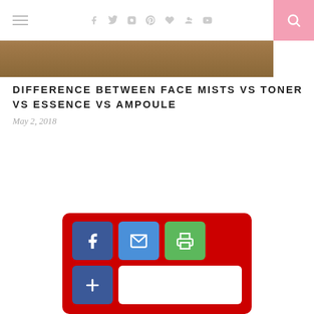Navigation and social icons header bar
[Figure (photo): Partial hero image of a person with hair visible, cropped at top of page]
DIFFERENCE BETWEEN FACE MISTS VS TONER VS ESSENCE VS AMPOULE
May 2, 2018
[Figure (infographic): Social sharing widget with red background, containing Facebook (blue), email (blue), print (green), plus (blue), and a white button]